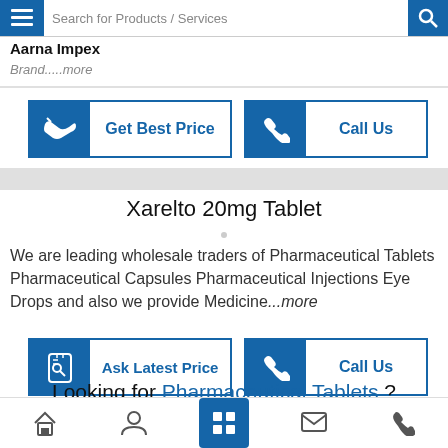Search for Products / Services
Aarna Impex
Brand.....more
Get Best Price
Call Us
Xarelto 20mg Tablet
We are leading wholesale traders of Pharmaceutical Tablets Pharmaceutical Capsules Pharmaceutical Injections Eye Drops and also we provide Medicine...more
Ask Latest Price
Call Us
Looking for Pharmaceutical Tablets ?
Home | Profile | Apps | Message | Call